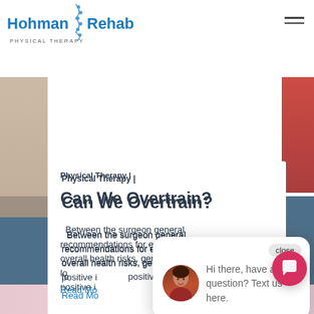[Figure (screenshot): Hohman Rehab Physical Therapy website header with logo and hamburger menu]
Physical Therapy |
Can We Overtrain?
Between the surgeon general recommendations for exercise to improve overall health risks, general benefits of weight loss... positive i...
Read Mo...
[Figure (screenshot): Chat popup widget with avatar and message: Hi there, have a question? Text us here. With close button.]